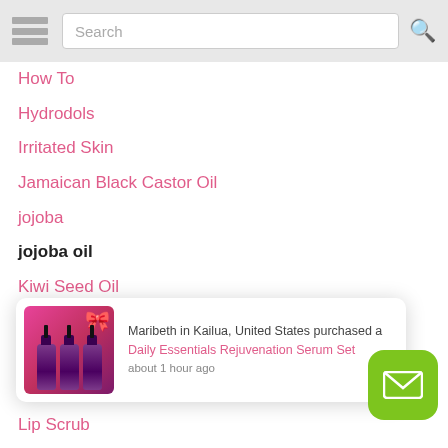[Figure (screenshot): Navigation bar with hamburger menu, search box, and search icon]
How To
Hydrodols
Irritated Skin
Jamaican Black Castor Oil
jojoba
jojoba oil
Kiwi Seed Oil
Kukui Nut Oil
Lavender Water
Leven Rose
Lip Scrub
Maracuja Oil
Men's Style
Oily Skin
Maribeth in Kailua, United States purchased a Daily Essentials Rejuvenation Serum Set about 1 hour ago